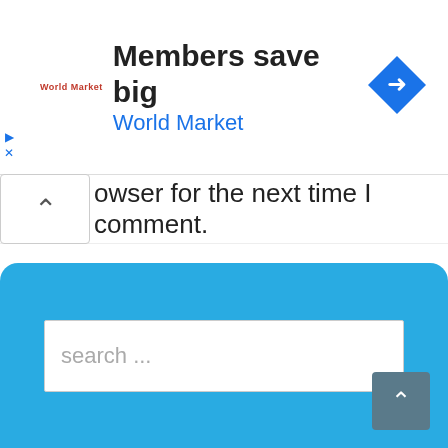[Figure (screenshot): Ad banner for World Market with logo, text 'Members save big / World Market', and a blue navigation arrow icon on the right.]
owser for the next time I comment.
Post Comment
search ...